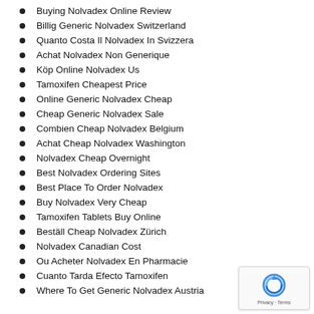Buying Nolvadex Online Review
Billig Generic Nolvadex Switzerland
Quanto Costa Il Nolvadex In Svizzera
Achat Nolvadex Non Generique
Köp Online Nolvadex Us
Tamoxifen Cheapest Price
Online Generic Nolvadex Cheap
Cheap Generic Nolvadex Sale
Combien Cheap Nolvadex Belgium
Achat Cheap Nolvadex Washington
Nolvadex Cheap Overnight
Best Nolvadex Ordering Sites
Best Place To Order Nolvadex
Buy Nolvadex Very Cheap
Tamoxifen Tablets Buy Online
Beställ Cheap Nolvadex Zürich
Nolvadex Canadian Cost
Ou Acheter Nolvadex En Pharmacie
Cuanto Tarda Efecto Tamoxifen
Where To Get Generic Nolvadex Austria